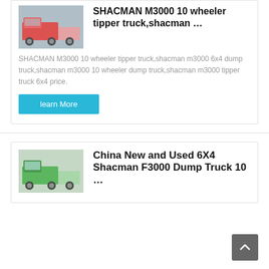[Figure (photo): Photo of a red SHACMAN M3000 10-wheeler tipper/dump truck]
SHACMAN M3000 10 wheeler tipper truck,shacman …
SHACMAN M3000 10 wheeler tipper truck,shacman m3000 6x4 dump truck,shacman m3000 10 wheeler dump truck,shacman m3000 tipper truck 6x4 price.
[Figure (photo): Photo of a green China New and Used 6X4 Shacman F3000 Dump Truck]
China New and Used 6X4 Shacman F3000 Dump Truck 10 …